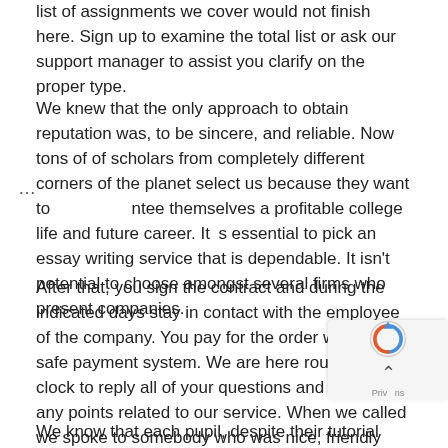list of assignments we cover would not finish here. Sign up to examine the total list or ask our support manager to assist you clarify on the proper type.
We knew that the only approach to obtain reputation was, to be sincere, and reliable. Now tons of of scholars from completely different corners of the planet select us because they want to guarantee themselves a profitable college life and future career. It is essential to pick an essay writing service that is dependable. It isn't potential to choose amongst several firms who present companies.
After that, you sign the contract and during the indicated days stay in contact with the employee of the company. You pay for the order with our safe payment system. We are here round-the-clock to reply all of your questions and clear up any points related to our service. When we called we spoke to somebody who was nice, friendly and knowledgeable and helped us through the entire course of.
We know that each pupil, despite their tutorial level, struggles with